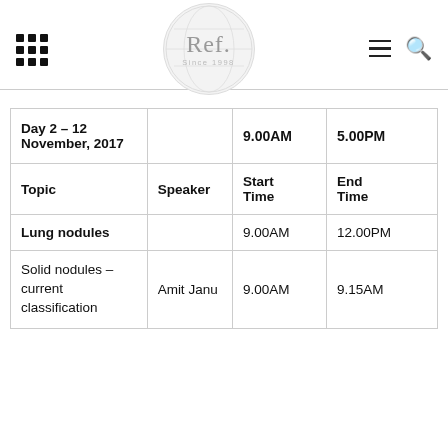Ref. Since 1998
| Day 2 – 12 November, 2017 |  | 9.00AM | 5.00PM |
| --- | --- | --- | --- |
| Topic | Speaker | Start Time | End Time |
| Lung nodules |  | 9.00AM | 12.00PM |
| Solid nodules – current classification | Amit Janu | 9.00AM | 9.15AM |